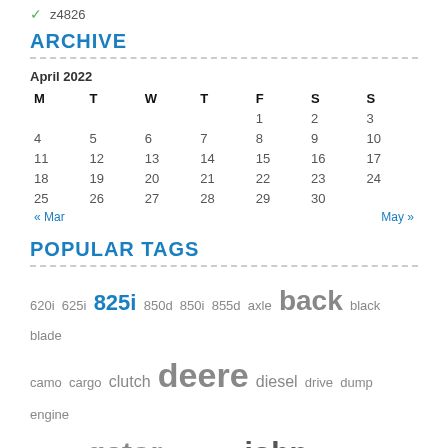✓ z4826
ARCHIVE
| M | T | W | T | F | S | S |
| --- | --- | --- | --- | --- | --- | --- |
|  |  |  |  | 1 | 2 | 3 |
| 4 | 5 | 6 | 7 | 8 | 9 | 10 |
| 11 | 12 | 13 | 14 | 15 | 16 | 17 |
| 18 | 19 | 20 | 21 | 22 | 23 | 24 |
| 25 | 26 | 27 | 28 | 29 | 30 |  |
POPULAR TAGS
620i 625i 825i 850d 850i 855d axle back black blade camo cargo clutch deere diesel drive dump engine fits front gator gators high john left lift